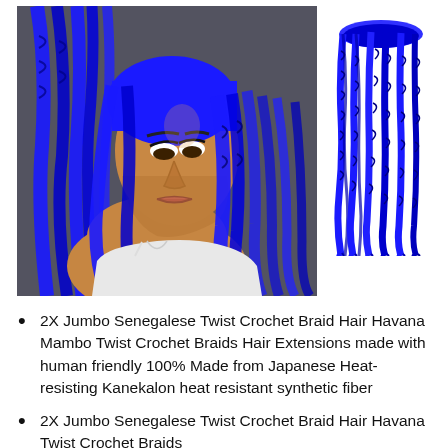[Figure (photo): Woman with long blue twisted/braided hair extensions (Senegalese twists) wearing a white top, looking downward. Photo is a portrait/profile shot.]
[Figure (photo): Close-up of blue Senegalese twist crochet braid hair extensions bundle on white background.]
2X Jumbo Senegalese Twist Crochet Braid Hair Havana Mambo Twist Crochet Braids Hair Extensions made with human friendly 100% Made from Japanese Heat-resisting Kanekalon heat resistant synthetic fiber
2X Jumbo Senegalese Twist Crochet Braid Hair Havana Twist Crochet Braids